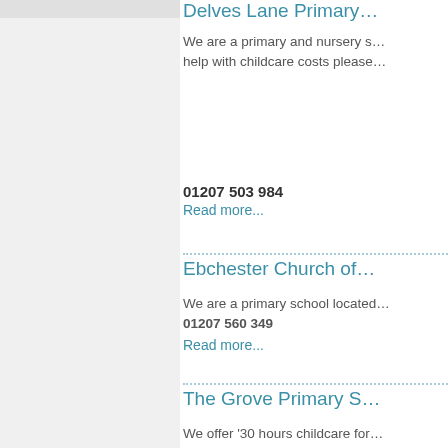[Figure (photo): Gray placeholder image on left column]
Delves Lane Primary
We are a primary and nursery s... help with childcare costs please...
01207 503 984
Read more...
Ebchester Church of
We are a primary school located...
01207 560 349
Read more...
The Grove Primary S
We offer '30 hours childcare for